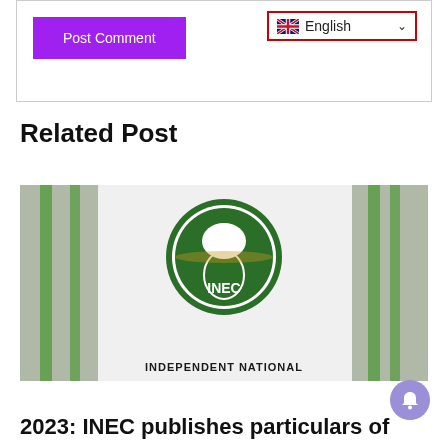[Figure (screenshot): Post Comment button (purple) and English language selector with UK flag and red border dropdown]
Related Post
[Figure (photo): INEC (Independent National Electoral Commission) logo and seal on branded materials with green and white colors. Text at bottom reads INDEPENDENT NATIONAL]
2023: INEC publishes particulars of